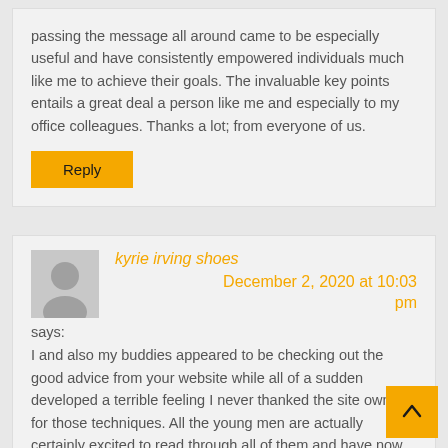passing the message all around came to be especially useful and have consistently empowered individuals much like me to achieve their goals. The invaluable key points entails a great deal a person like me and especially to my office colleagues. Thanks a lot; from everyone of us.
Reply
kyrie irving shoes
December 2, 2020 at 10:03 pm
says:
I and also my buddies appeared to be checking out the good advice from your website while all of a sudden developed a terrible feeling I never thanked the site owner for those techniques. All the young men are actually certainly excited to read through all of them and have now in truth been taking advantage of those things. I appreciate you for causing the quite helpful and